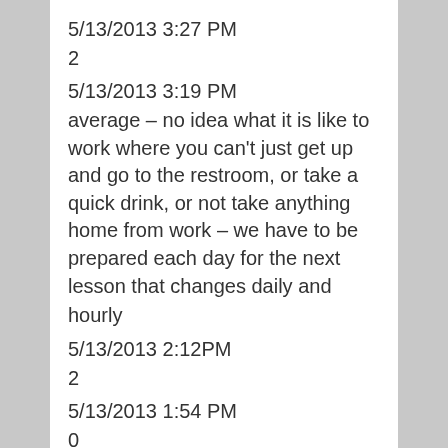5/13/2013 3:27 PM
2
5/13/2013 3:19 PM
average – no idea what it is like to work where you can't just get up and go to the restroom, or take a quick drink, or not take anything home from work – we have to be prepared each day for the next lesson that changes daily and hourly
5/13/2013 2:12PM
2
5/13/2013 1:54 PM
0
5/13/2013 12:34 AM
2